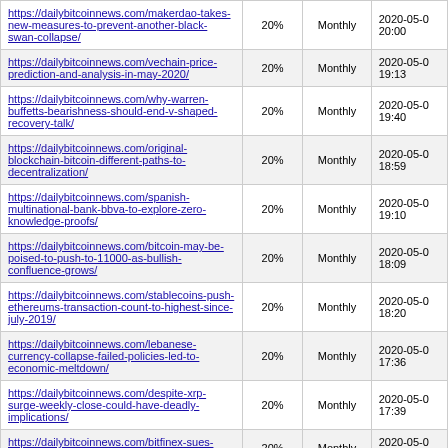| URL | Change Frequency | Priority | Last Modified |
| --- | --- | --- | --- |
| https://dailybitcoinnews.com/makerdao-takes-new-measures-to-prevent-another-black-swan-collapse/ | 20% | Monthly | 2020-05-0 20:00 |
| https://dailybitcoinnews.com/vechain-price-prediction-and-analysis-in-may-2020/ | 20% | Monthly | 2020-05-0 19:13 |
| https://dailybitcoinnews.com/why-warren-buffetts-bearishness-should-end-v-shaped-recovery-talk/ | 20% | Monthly | 2020-05-0 19:40 |
| https://dailybitcoinnews.com/original-blockchain-bitcoin-different-paths-to-decentralization/ | 20% | Monthly | 2020-05-0 18:59 |
| https://dailybitcoinnews.com/spanish-multinational-bank-bbva-to-explore-zero-knowledge-proofs/ | 20% | Monthly | 2020-05-0 19:10 |
| https://dailybitcoinnews.com/bitcoin-may-be-poised-to-push-to-11000-as-bullish-confluence-grows/ | 20% | Monthly | 2020-05-0 18:09 |
| https://dailybitcoinnews.com/stablecoins-push-ethereums-transaction-count-to-highest-since-july-2019/ | 20% | Monthly | 2020-05-0 18:20 |
| https://dailybitcoinnews.com/lebanese-currency-collapse-failed-policies-led-to-economic-meltdown/ | 20% | Monthly | 2020-05-0 17:36 |
| https://dailybitcoinnews.com/despite-xrp-surge-weekly-close-could-have-deadly-implications/ | 20% | Monthly | 2020-05-0 17:39 |
| https://dailybitcoinnews.com/bitfinex-sues-miners-prepare-congress-considers/ | 20% | Monthly | 2020-05-0 17:40 |
| https://dailybitcoinnews.com/coincentral- |  |  |  |